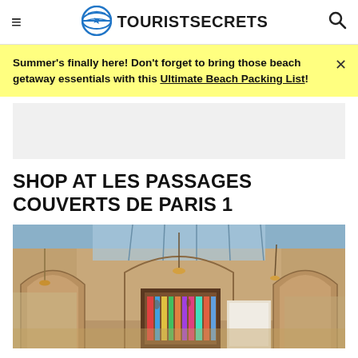TOURISTSECRETS
Summer's finally here! Don't forget to bring those beach getaway essentials with this Ultimate Beach Packing List!
[Figure (other): Advertisement placeholder block]
SHOP AT LES PASSAGES COUVERTS DE PARIS 1
[Figure (photo): Interior of Les Passages Couverts de Paris — ornate covered arcade with arched stone columns, glass ceiling, chandeliers, and shop stalls displaying books and goods]